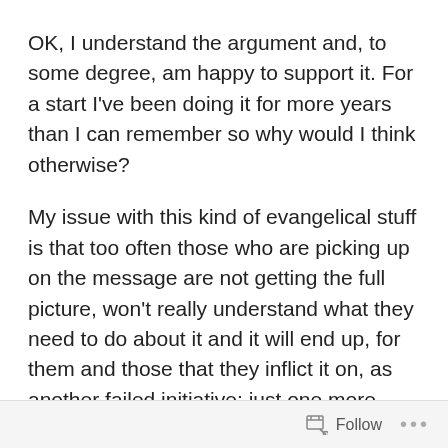OK, I understand the argument and, to some degree, am happy to support it. For a start I've been doing it for more years than I can remember so why would I think otherwise?
My issue with this kind of evangelical stuff is that too often those who are picking up on the message are not getting the full picture, won't really understand what they need to do about it and it will end up, for them and those that they inflict it on, as another failed initiative; just one more management fad.
Let me be blunt here: Every business needs to have someone in a management role. Sure, it is going to involve a lot of boring stuff: admin type things that the
Follow ···